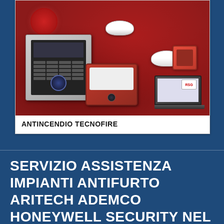[Figure (photo): Fire alarm and security system products on a red smoky background, including a grey control panel, red touchscreen tablet, smoke detectors, manual call point, and a laptop with RSG logo. Text 'ANTINCENDIO TECNOFIRE' beneath the image.]
ANTINCENDIO TECNOFIRE
SERVIZIO ASSISTENZA IMPIANTI ANTIFURTO ARITECH ADEMCO HONEYWELL SECURITY NEL COMUNE DI CAPONAGO